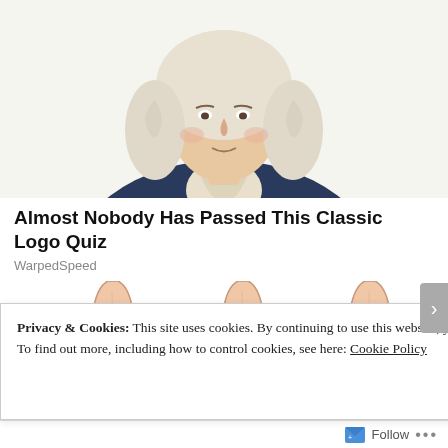[Figure (illustration): Illustrated portrait of a historical figure (appears to be a Founding Father) in colonial-era clothing with white powdered wig, dark navy coat, and white ruffled cravat, cropped to show head/torso.]
Almost Nobody Has Passed This Classic Logo Quiz
WarpedSpeed
[Figure (illustration): Three medical illustrations of ankle/lower leg showing different points of pain or swelling: left image shows a red inflamed area near the heel, center image shows a black dot at the ankle bone, right image shows a red/inflamed area at the back of the heel (Achilles region).]
Privacy & Cookies: This site uses cookies. By continuing to use this website, you agree to their use.
To find out more, including how to control cookies, see here: Cookie Policy
Close and accept
Follow